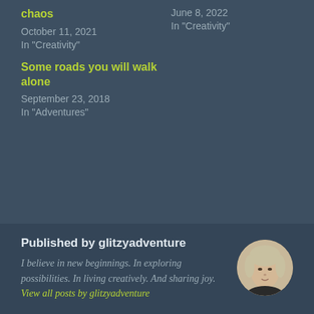chaos
October 11, 2021
In "Creativity"
June 8, 2022
In "Creativity"
Some roads you will walk alone
September 23, 2018
In "Adventures"
Published by glitzyadventure
I believe in new beginnings. In exploring possibilities. In living creatively. And sharing joy. View all posts by glitzyadventure
[Figure (photo): Circular portrait photo of a blonde woman]